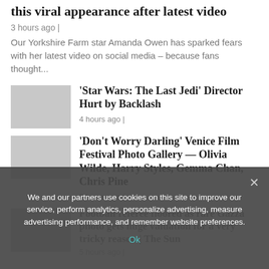this viral appearance after latest video
3 hours ago |
Our Yorkshire Farm star Amanda Owen has sparked fears with her latest video on social media – because fans thought...
'Star Wars: The Last Jedi' Director Hurt by Backlash
4 hours ago |
'Don't Worry Darling' Venice Film Festival Photo Gallery — Olivia Wilde, Harry Styles, Gemma Chan, Chris Pine
5 hours ago |
Football referee floored as rare Gazza photo gets huge valuation for a very tricky reason | The Sun
5 hours ago |
We and our partners use cookies on this site to improve our service, perform analytics, personalize advertising, measure advertising performance, and remember website preferences.
Ok